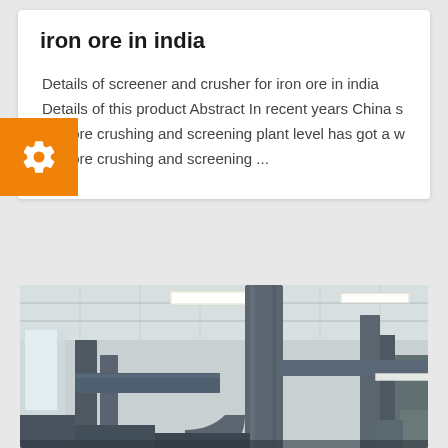iron ore in india
Details of screener and crusher for iron ore in india Details of this product Abstract In recent years China s iron ore crushing and screening plant level has got a w iron ore crushing and screening ...
[Figure (photo): Industrial facility interior showing pipes, ductwork, and ceiling-mounted fluorescent lighting in what appears to be a crushing or screening plant]